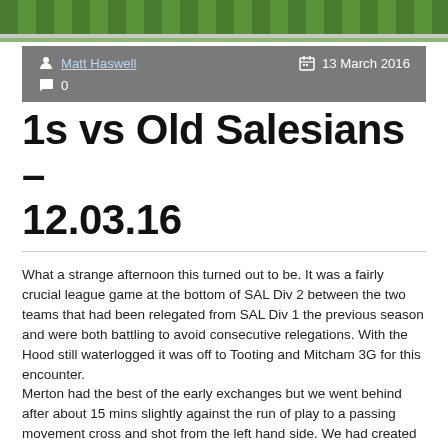[Figure (photo): Green grass/turf texture banner at top of page]
Matt Haswell   13 March 2016   0 comments
1s vs Old Salesians – 12.03.16
What a strange afternoon this turned out to be. It was a fairly crucial league game at the bottom of SAL Div 2 between the two teams that had been relegated from SAL Div 1 the previous season and were both battling to avoid consecutive relegations. With the Hood still waterlogged it was off to Tooting and Mitcham 3G for this encounter.
Merton had the best of the early exchanges but we went behind after about 15 mins slightly against the run of play to a passing movement cross and shot from the left hand side. We had created and missed a couple of chances but got the equaliser on about 25 mins when OS cleared a corner to the edge of the box and we recycled it and Wilgo flicked it in with his head. Now I have watched Wilgo over the last 15 years or so I have seen him do many things on the field with a football but a Wilgo headed goal is a first. It got better because almost immediately after a great move down the right involving Rat and Vanny and a deep cross was volleyed home at the far post by Tills. Moments later it was 3-1 when a free kick touched on by Woody was fumbled in by their keeper. Just before HT their tricky CF came down in the box and it was 3-2 from the spot.